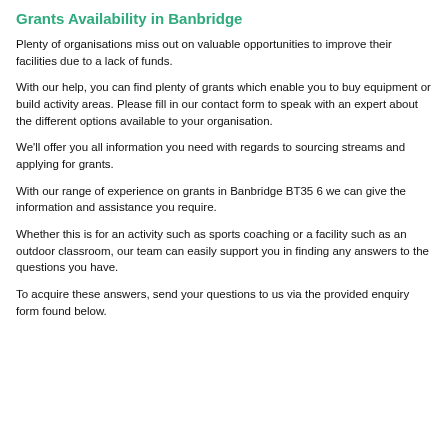Grants Availability in Banbridge
Plenty of organisations miss out on valuable opportunities to improve their facilities due to a lack of funds.
With our help, you can find plenty of grants which enable you to buy equipment or build activity areas. Please fill in our contact form to speak with an expert about the different options available to your organisation.
We'll offer you all information you need with regards to sourcing streams and applying for grants.
With our range of experience on grants in Banbridge BT35 6 we can give the information and assistance you require.
Whether this is for an activity such as sports coaching or a facility such as an outdoor classroom, our team can easily support you in finding any answers to the questions you have.
To acquire these answers, send your questions to us via the provided enquiry form found below.